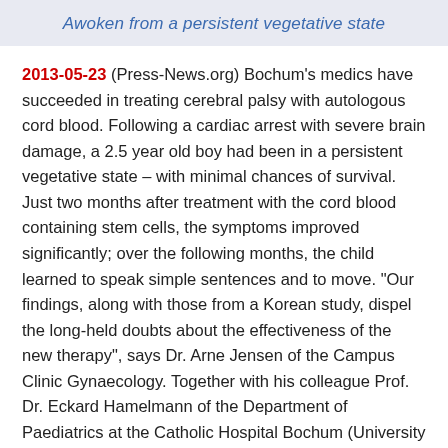Awoken from a persistent vegetative state
2013-05-23 (Press-News.org) Bochum's medics have succeeded in treating cerebral palsy with autologous cord blood. Following a cardiac arrest with severe brain damage, a 2.5 year old boy had been in a persistent vegetative state – with minimal chances of survival. Just two months after treatment with the cord blood containing stem cells, the symptoms improved significantly; over the following months, the child learned to speak simple sentences and to move. "Our findings, along with those from a Korean study, dispel the long-held doubts about the effectiveness of the new therapy", says Dr. Arne Jensen of the Campus Clinic Gynaecology. Together with his colleague Prof. Dr. Eckard Hamelmann of the Department of Paediatrics at the Catholic Hospital Bochum (University Clinic of the RUB), he reports in the journal "Case Reports in Transplantation".
The parents searched the literature for treatment options